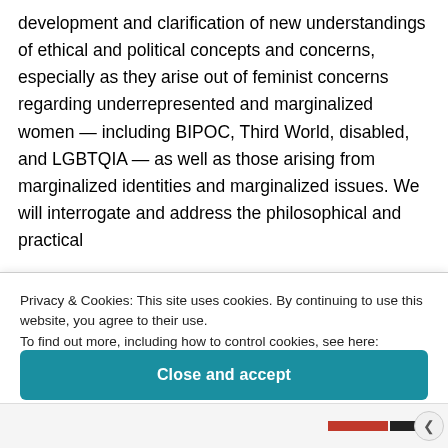development and clarification of new understandings of ethical and political concepts and concerns, especially as they arise out of feminist concerns regarding underrepresented and marginalized women — including BIPOC, Third World, disabled, and LGBTQIA — as well as those arising from marginalized identities and marginalized issues. We will interrogate and address the philosophical and practical
Privacy & Cookies: This site uses cookies. By continuing to use this website, you agree to their use.
To find out more, including how to control cookies, see here: Cookie Policy
Close and accept